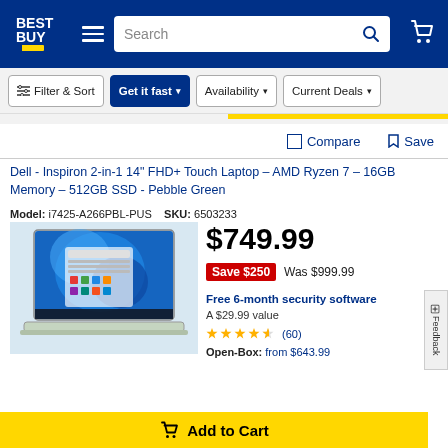[Figure (logo): Best Buy logo - white text on blue background with yellow tag]
[Figure (screenshot): Best Buy website navigation bar with search field, hamburger menu, and cart icon]
Filter & Sort   Get it fast   Availability   Current Deals
Compare   Save
Dell - Inspiron 2-in-1 14" FHD+ Touch Laptop – AMD Ryzen 7 – 16GB Memory – 512GB SSD - Pebble Green
Model: i7425-A266PBL-PUS   SKU: 6503233
[Figure (photo): Dell Inspiron 2-in-1 laptop in Pebble Green color showing Windows 11 desktop]
$749.99
Save $250  Was $999.99
Free 6-month security software
A $29.99 value
(60)
Open-Box: from $643.99
Add to Cart